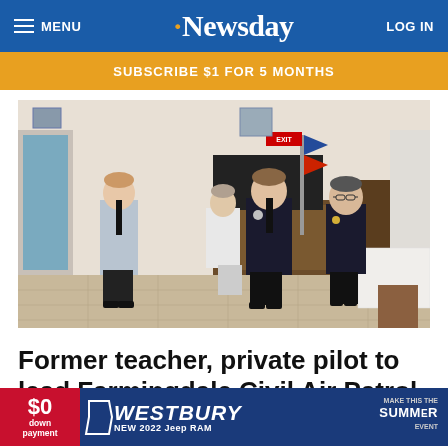MENU  Newsday  LOG IN
SUBSCRIBE $1 FOR 5 MONTHS
[Figure (photo): Four men standing in a room that appears to be a dining hall or restaurant. From left: a young man in a light gray military-style uniform with a black tie, a man in white uniform holding a flag in the background, a man in a dark suit with a badge, and a man in a dark suit with medals. The room has patterned wallpaper, framed pictures, and tiled floors.]
Former teacher, private pilot to lead Farmingdale Civil Air Patrol
[Figure (other): Advertisement for Westbury Jeep dealership: $0 down payment, NEW 2022 Jeep RAM, SUMMER EVENT]